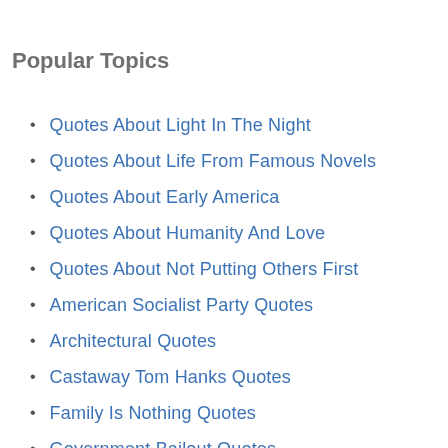Popular Topics
Quotes About Light In The Night
Quotes About Life From Famous Novels
Quotes About Early America
Quotes About Humanity And Love
Quotes About Not Putting Others First
American Socialist Party Quotes
Architectural Quotes
Castaway Tom Hanks Quotes
Family Is Nothing Quotes
Government Bailout Quotes
Herd Thinking Quotes